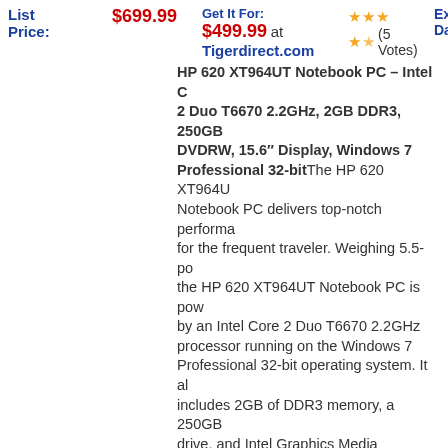List Price: $699.99
$499.99 at Tigerdirect.com
★★★★☆ (5 Votes)
Expiary Date:
Lin Off
HP 620 XT964UT Notebook PC – Intel Core 2 Duo T6670 2.2GHz, 2GB DDR3, 250GB DVDRW, 15.6" Display, Windows 7 Professional 32-bit The HP 620 XT964UT Notebook PC delivers top-notch performance for the frequent traveler. Weighing 5.5-pou... the HP 620 XT964UT Notebook PC is powered by an Intel Core 2 Duo T6670 2.2GHz processor running on the Windows 7 Professional 32-bit operating system. It also includes 2GB of DDR3 memory, a 250GB drive, and Intel Graphics Media Accelerator 4500MHD graphics. This stylish HP 620 XT964UT Notebook PC boasts a crystal clear 15.6-inch widescreen (1366 x 768) display, ideal for working efficiently in cramped...
[Figure (photo): HP 620 laptop notebook computer shown from side and front angle, dark gray color with HP logo on screen]